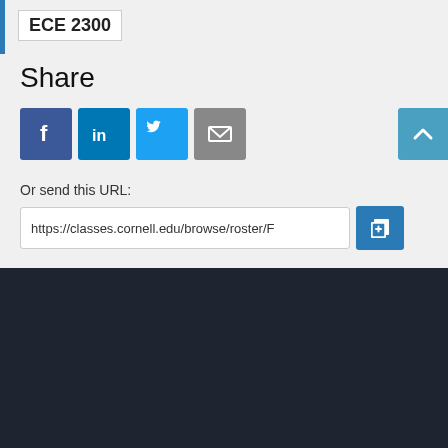ECE 2300
Share
[Figure (infographic): Social sharing buttons: Facebook, LinkedIn, Twitter, Email, and a scroll-to-top button]
Or send this URL:
https://classes.cornell.edu/browse/roster/F
About the Class Roster
The schedule of classes is maintained by the Office of the University Registrar. Current and future academic terms are updated daily. Additional detail on Cornell University's diverse academic programs and resources can be found in the Courses of Study. Visit The Cornell Store for textbook information.